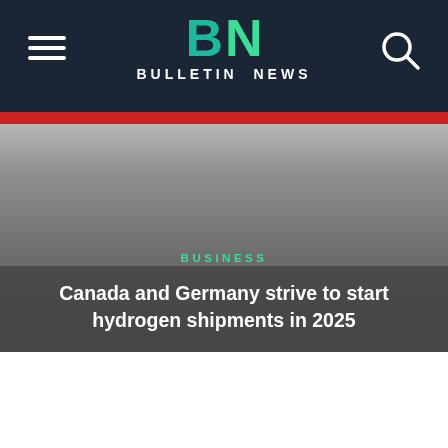BN BULLETIN NEWS
[Figure (photo): Hero image with dark gradient overlay showing a news article header. Gray gradient background representing an article hero image.]
BUSINESS
Canada and Germany strive to start hydrogen shipments in 2025